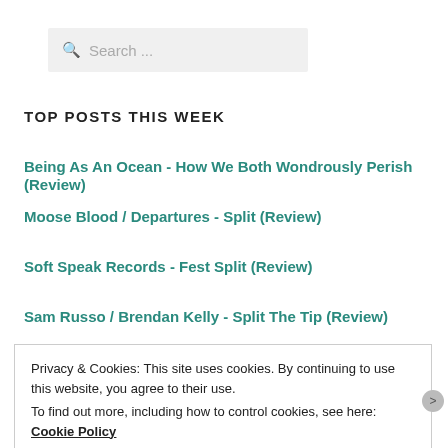[Figure (other): Search box with magnifying glass icon and placeholder text 'Search ...']
TOP POSTS THIS WEEK
Being As An Ocean - How We Both Wondrously Perish (Review)
Moose Blood / Departures - Split (Review)
Soft Speak Records - Fest Split (Review)
Sam Russo / Brendan Kelly - Split The Tip (Review)
Privacy & Cookies: This site uses cookies. By continuing to use this website, you agree to their use.
To find out more, including how to control cookies, see here: Cookie Policy
Close and accept